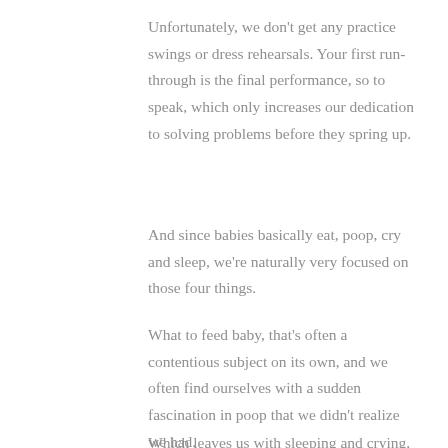Unfortunately, we don't get any practice swings or dress rehearsals. Your first run-through is the final performance, so to speak, which only increases our dedication to solving problems before they spring up.
And since babies basically eat, poop, cry and sleep, we're naturally very focused on those four things.
What to feed baby, that's often a contentious subject on its own, and we often find ourselves with a sudden fascination in poop that we didn't realize we had.
Which leaves us with sleeping and crying, and as a baby sleep consultant, I assure you, I've done a